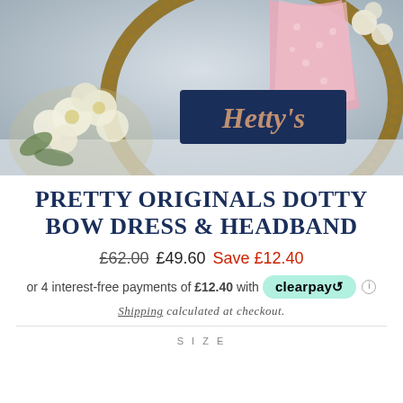[Figure (photo): Product lifestyle photo showing a pink polka-dot dress draped over a wicker basket with a 'Hetty's' branded wooden sign and white flower bouquet]
PRETTY ORIGINALS DOTTY BOW DRESS & HEADBAND
£62.00  £49.60  Save £12.40
or 4 interest-free payments of £12.40 with clearpay
Shipping calculated at checkout.
SIZE